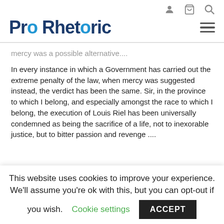Pro Rhetoric
mercy was a possible alternative....
In every instance in which a Government has carried out the extreme penalty of the law, when mercy was suggested instead, the verdict has been the same. Sir, in the province to which I belong, and especially amongst the race to which I belong, the execution of Louis Riel has been universally condemned as being the sacrifice of a life, not to inexorable justice, but to bitter passion and revenge ....
This website uses cookies to improve your experience. We'll assume you're ok with this, but you can opt-out if you wish. Cookie settings ACCEPT